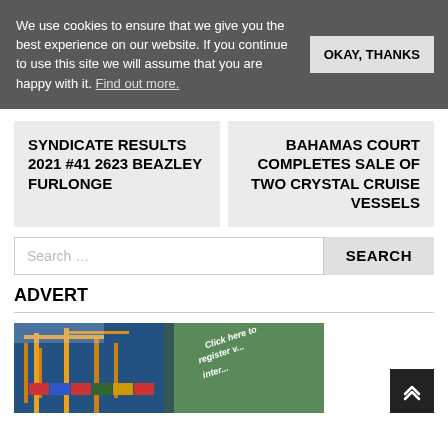We use cookies to ensure that we give you the best experience on our website. If you continue to use this site we will assume that you are happy with it. Find out more.
OKAY, THANKS
SYNDICATE RESULTS 2021 #41 2623 BEAZLEY FURLONGE
BAHAMAS COURT COMPLETES SALE OF TWO CRYSTAL CRUISE VESSELS
Search ...
SEARCH
ADVERT
[Figure (photo): Partial photo of a container port/crane facility with overlay text 'Click here to register v... inte...' on a green background]